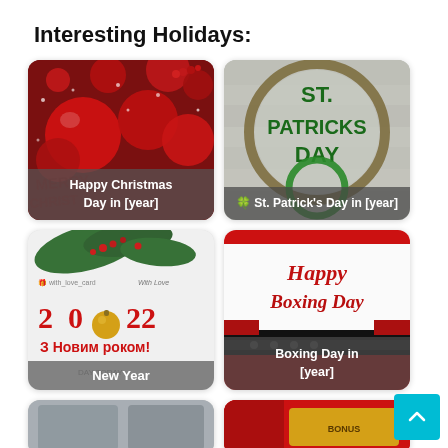Interesting Holidays:
[Figure (photo): Red Christmas ornament balls with berries on white snowy background, with overlay text 'Happy Christmas Day in [year]']
[Figure (photo): Circular wood sign reading 'ST. PATRICKS DAY' in green letters, with overlay text '🍀 St. Patrick's Day in [year]']
[Figure (photo): 2022 New Year card in Ukrainian with pine branches and gold ornament, with overlay text 'New Year']
[Figure (photo): Happy Boxing Day script card with red ribbon and Santa belt, with overlay text 'Boxing Day in [year]']
[Figure (photo): Partial bottom card, partially visible]
[Figure (photo): Partial bottom card, partially visible]